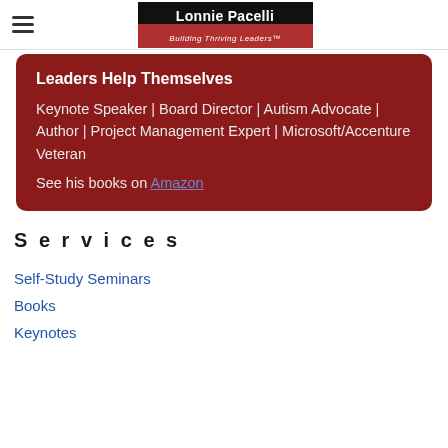Lonnie Pacelli — Building Thriving Leaders™
Leaders Help Themselves
Keynote Speaker | Board Director | Autism Advocate | Author | Project Management Expert | Microsoft/Accenture Veteran
See his books on Amazon
Services
Self-Study Seminars
Books
Keynotes